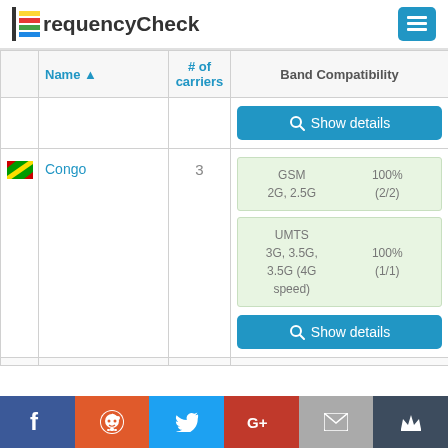FrequencyCheck
|  | Name ▲ | # of carriers | Band Compatibility |
| --- | --- | --- | --- |
|  |  |  | Show details |
| [Congo flag] | Congo | 3 | GSM 2G, 2.5G | 100% (2/2) | UMTS 3G, 3.5G, 3.5G (4G speed) | 100% (1/1) | Show details |
Facebook Reddit Twitter Google+ Mail Crown